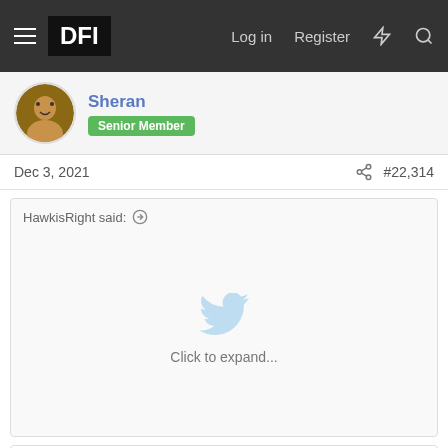DFI — Log in   Register
Sheran
Senior Member
Dec 3, 2021   #22,314
HawkisRight said: ↑   Click to expand...
Maharashtra: NCP leader Jitendra Awhad asks M... NCP leader Jayant Patil was present at the said event at Bhiwandi too. Addressing the media, Awhad said, Muslims should not get their brains 'hot' by eating meat. They should use ice to cool their heads and keep their mouths shut. | OpIndia